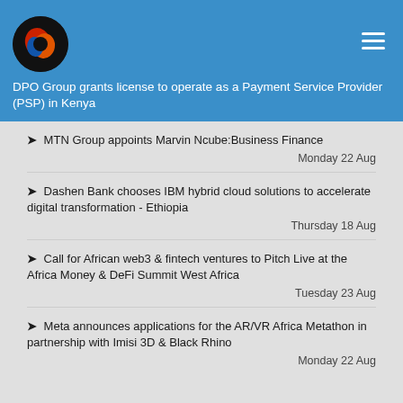Africa News
DPO Group grants license to operate as a Payment Service Provider (PSP) in Kenya — Monday 29 Aug
MTN Group appoints Marvin Ncube:Business Finance — Monday 22 Aug
Dashen Bank chooses IBM hybrid cloud solutions to accelerate digital transformation - Ethiopia — Thursday 18 Aug
Call for African web3 & fintech ventures to Pitch Live at the Africa Money & DeFi Summit West Africa — Tuesday 23 Aug
Meta announces applications for the AR/VR Africa Metathon in partnership with Imisi 3D & Black Rhino — Monday 22 Aug